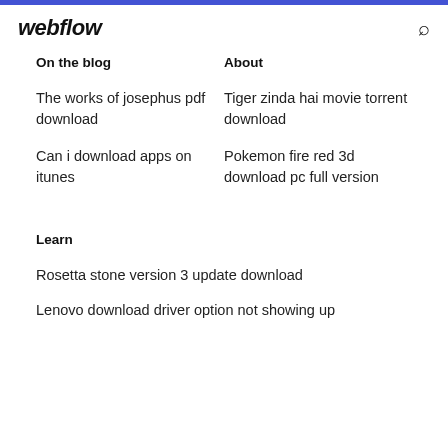webflow
On the blog
About
The works of josephus pdf download
Tiger zinda hai movie torrent download
Can i download apps on itunes
Pokemon fire red 3d download pc full version
Learn
Rosetta stone version 3 update download
Lenovo download driver option not showing up